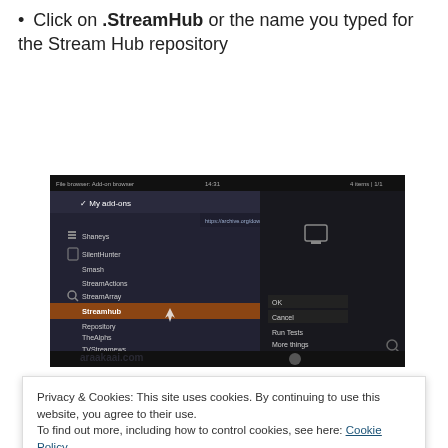Click on .StreamHub or the name you typed for the Stream Hub repository
[Figure (screenshot): Screenshot of a Kodi file browser add-on browser showing a list of add-ons including Streamhub highlighted in brown/orange, with a URL bar showing https://archive.org/download/repository.streamhub/ and context menu options visible]
Privacy & Cookies: This site uses cookies. By continuing to use this website, you agree to their use.
To find out more, including how to control cookies, see here: Cookie Policy